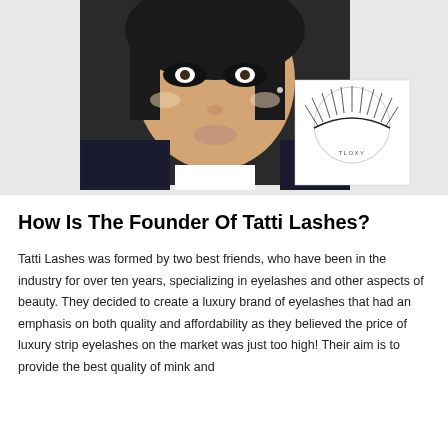[Figure (photo): A woman with dramatic eye makeup wearing dark clothing, with an inset product image of Tatti Lashes false eyelashes (TLOXY style) on a white circular background]
How Is The Founder Of Tatti Lashes?
Tatti Lashes was formed by two best friends, who have been in the industry for over ten years, specializing in eyelashes and other aspects of beauty. They decided to create a luxury brand of eyelashes that had an emphasis on both quality and affordability as they believed the price of luxury strip eyelashes on the market was just too high! Their aim is to provide the best quality of mink and